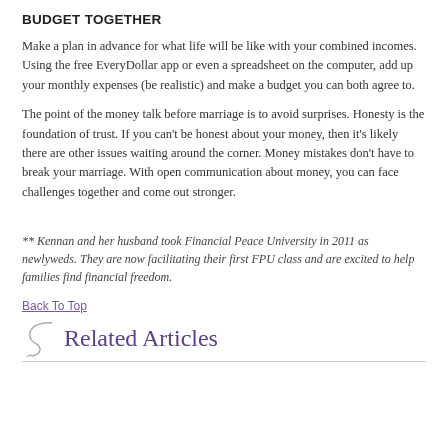BUDGET TOGETHER
Make a plan in advance for what life will be like with your combined incomes. Using the free EveryDollar app or even a spreadsheet on the computer, add up your monthly expenses (be realistic) and make a budget you can both agree to.
The point of the money talk before marriage is to avoid surprises. Honesty is the foundation of trust. If you can’t be honest about your money, then it’s likely there are other issues waiting around the corner. Money mistakes don’t have to break your marriage. With open communication about money, you can face challenges together and come out stronger.
** Kennan and her husband took Financial Peace University in 2011 as newlyweds. They are now facilitating their first FPU class and are excited to help families find financial freedom.
Back To Top
Related Articles